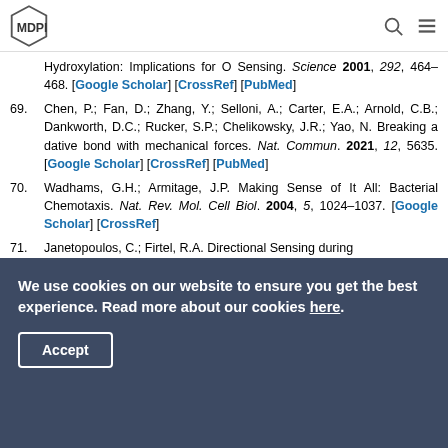MDPI
Hydroxylation: Implications for O Sensing. Science 2001, 292, 464–468. [Google Scholar] [CrossRef] [PubMed]
69. Chen, P.; Fan, D.; Zhang, Y.; Selloni, A.; Carter, E.A.; Arnold, C.B.; Dankworth, D.C.; Rucker, S.P.; Chelikowsky, J.R.; Yao, N. Breaking a dative bond with mechanical forces. Nat. Commun. 2021, 12, 5635. [Google Scholar] [CrossRef] [PubMed]
70. Wadhams, G.H.; Armitage, J.P. Making Sense of It All: Bacterial Chemotaxis. Nat. Rev. Mol. Cell Biol. 2004, 5, 1024–1037. [Google Scholar] [CrossRef]
71. Janetopoulos, C.; Firtel, R.A. Directional Sensing during
We use cookies on our website to ensure you get the best experience. Read more about our cookies here.
Accept